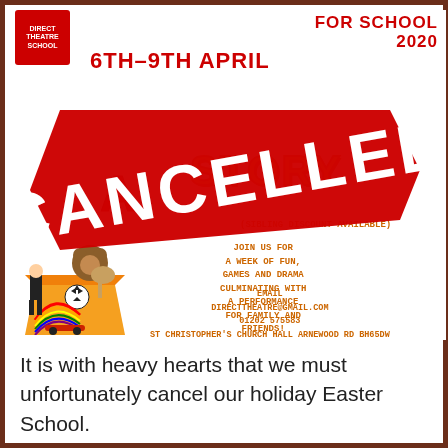[Figure (illustration): Easter holiday theatre school promotional flyer for 'A Toy Story' running 6th-9th April, overlaid with a large red diagonal CANCELLED stamp. Features toy illustrations and event details including email directtheatre@gmail.com, phone 01202 575583, venue St Christopher's Church Hall Arnewood Rd BH65DW. Logo for Direct Theatre School in top left. Red text FOR SCHOOL 2020 top right.]
It is with heavy hearts that we must unfortunately cancel our holiday Easter School.